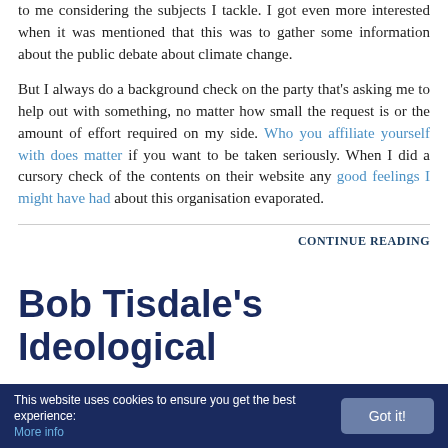to me considering the subjects I tackle. I got even more interested when it was mentioned that this was to gather some information about the public debate about climate change.
But I always do a background check on the party that's asking me to help out with something, no matter how small the request is or the amount of effort required on my side. Who you affiliate yourself with does matter if you want to be taken seriously. When I did a cursory check of the contents on their website any good feelings I might have had about this organisation evaporated.
CONTINUE READING
Bob Tisdale's Ideological
This website uses cookies to ensure you get the best experience: More info